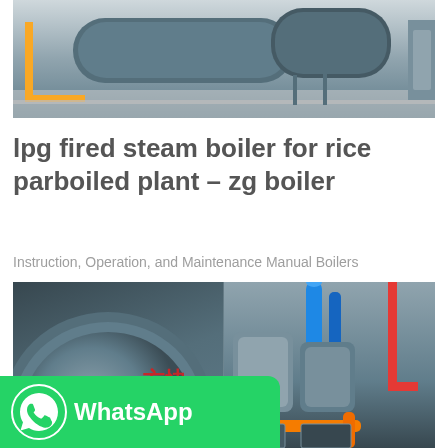[Figure (photo): Industrial LPG fired steam boiler in a facility — large cylindrical blue/grey boiler vessel with yellow pipes and piping infrastructure visible.]
lpg fired steam boiler for rice parboiled plant – zg boiler
Instruction, Operation, and Maintenance Manual Boilers
[Figure (other): Get Price button — teal/cyan rounded rectangle button with white text]
[Figure (photo): Industrial steam boilers in a plant facility — showing cylindrical boiler drums, blue pipes, red pipes, and orange piping with Chinese text visible on the equipment.]
[Figure (other): WhatsApp contact banner — green background with WhatsApp logo icon and 'WhatsApp' text in white.]